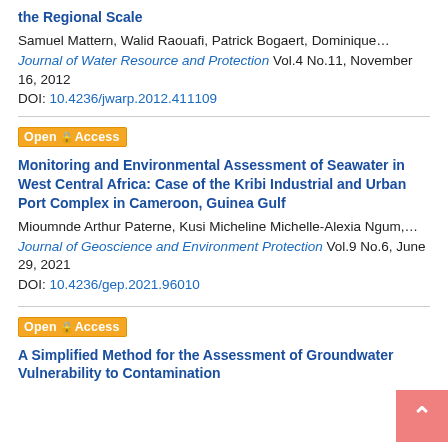the Regional Scale
Samuel Mattern, Walid Raouafi, Patrick Bogaert, Dominique…
Journal of Water Resource and Protection Vol.4 No.11, November 16, 2012
DOI: 10.4236/jwarp.2012.411109
Monitoring and Environmental Assessment of Seawater in West Central Africa: Case of the Kribi Industrial and Urban Port Complex in Cameroon, Guinea Gulf
Mioumnde Arthur Paterne, Kusi Micheline Michelle-Alexia Ngum,…
Journal of Geoscience and Environment Protection Vol.9 No.6, June 29, 2021
DOI: 10.4236/gep.2021.96010
A Simplified Method for the Assessment of Groundwater Vulnerability to Contamination